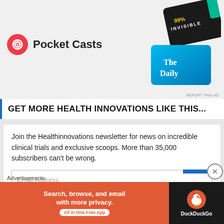[Figure (illustration): Pocket Casts advertisement with logo (spiral icon and 'Pocket Casts' text) and podcast card images including '99% Invisible' and 'The Daily']
GET MORE HEALTH INNOVATIONS LIKE THIS...
Join the Healthinnovations newsletter for news on incredible clinical trials and exclusive scoops. More than 35,000 subscribers can't be wrong.
[Figure (screenshot): Email Address input field placeholder]
[Figure (screenshot): Subscribe button (blue)]
Advertisements
[Figure (illustration): DuckDuckGo advertisement: 'Search, browse, and email with more privacy. All in One Free App' with DuckDuckGo logo on dark background]